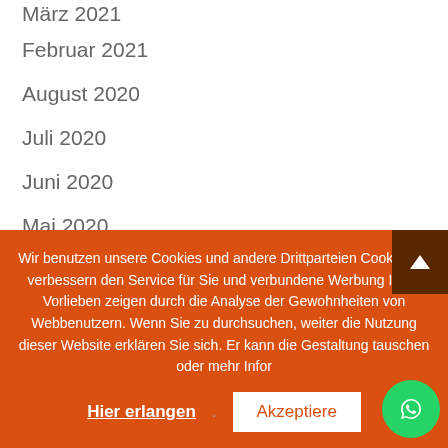März 2021
Februar 2021
August 2020
Juli 2020
Juni 2020
Mai 2020
April 2020
Wir benutzen unsere Cookies und andere Drittparteien Cookies zu verbessern den Service für Sie und verbundene Werbung Ihren Vorlieben zeigen durch die Analyse der Gewohnheiten von Webbenutzern. Wenn Sie zu durchsuchen, weiter die Nutzung dieser Website erklären Sie sich. Er kann die Gestaltung tauschen oder mehr Infor...
Hier erlangen  Akzeptiere